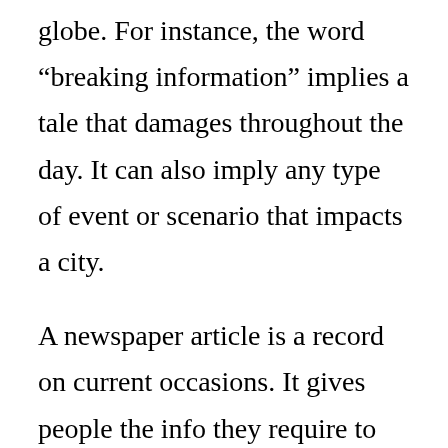globe. For instance, the word “breaking information” implies a tale that damages throughout the day. It can also imply any type of event or scenario that impacts a city.
A newspaper article is a record on current occasions. It gives people the info they require to choose and make an informed choice. It may be broadcast in various media, such as television or radio. It might be in a newspaper or in a publication. It can